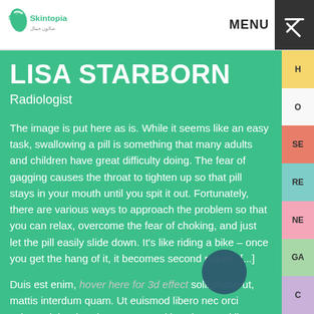Skintopia | MENU
LISA STARBORN
Radiologist
The image is put here as is. While it seems like an easy task, swallowing a pill is something that many adults and children have great difficulty doing. The fear of gagging causes the throat to tighten up so that pill stays in your mouth until you spit it out. Fortunately, there are various ways to approach the problem so that you can relax, overcome the fear of choking, and just let the pill easily slide down. It’s like riding a bike – once you get the hang of it, it becomes second nature. [...]
Duis est enim, hover here for 3d effect sollicitudin ut, mattis interdum quam. Ut euismod libero nec orci vulputat lobortis. Class aptent taciti sociosqu ad litora torquent per